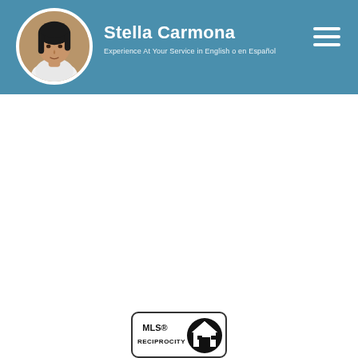[Figure (photo): Header banner with profile photo of Stella Carmona (woman with dark hair), name, tagline, and hamburger menu icon on teal/steel blue background]
Stella Carmona
Experience At Your Service in English o en Español
[Figure (logo): MLS® RECIPROCITY logo with house icon inside a rounded rectangle border]